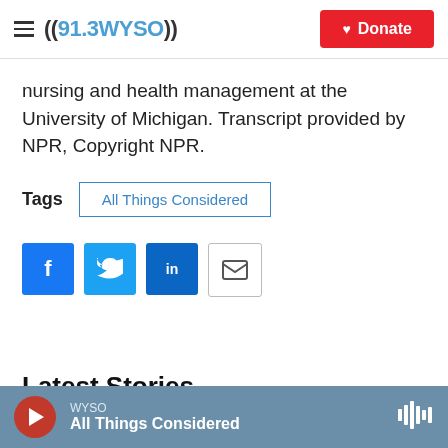((91.3WYSO)) | Donate
nursing and health management at the University of Michigan. Transcript provided by NPR, Copyright NPR.
Tags  All Things Considered
[Figure (infographic): Social sharing buttons: Facebook (blue), Twitter (blue), LinkedIn (dark blue), Email (outlined)]
Latest Stories
WYSO  All Things Considered